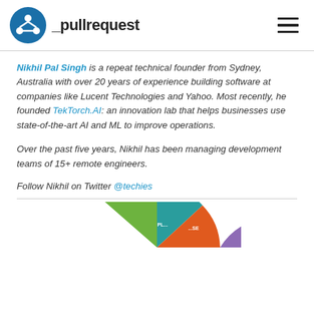_pullrequest
Nikhil Pal Singh is a repeat technical founder from Sydney, Australia with over 20 years of experience building software at companies like Lucent Technologies and Yahoo. Most recently, he founded TekTorch.AI: an innovation lab that helps businesses use state-of-the-art AI and ML to improve operations.

Over the past five years, Nikhil has been managing development teams of 15+ remote engineers.

Follow Nikhil on Twitter @techies
[Figure (pie-chart): Partial donut/pie chart visible at bottom of page showing colored segments in green, teal, orange, and purple]